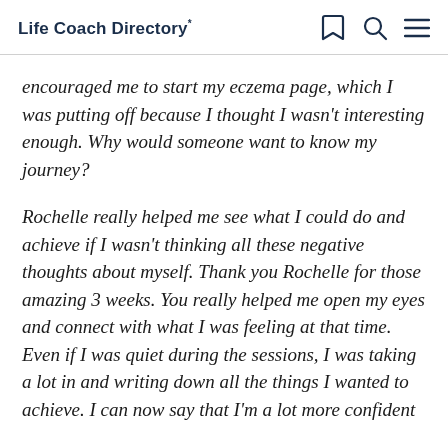Life Coach Directory*
encouraged me to start my eczema page, which I was putting off because I thought I wasn't interesting enough. Why would someone want to know my journey?
Rochelle really helped me see what I could do and achieve if I wasn't thinking all these negative thoughts about myself. Thank you Rochelle for those amazing 3 weeks. You really helped me open my eyes and connect with what I was feeling at that time. Even if I was quiet during the sessions, I was taking a lot in and writing down all the things I wanted to achieve. I can now say that I'm a lot more confident